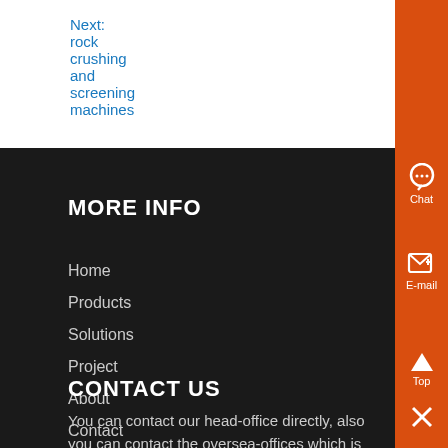Next: rock crushing and screening machines
MORE INFO
Home
Products
Solutions
Project
About
Contact
CONTACT US
You can contact our head-office directly, also you can contact the oversea-offices which is near you.